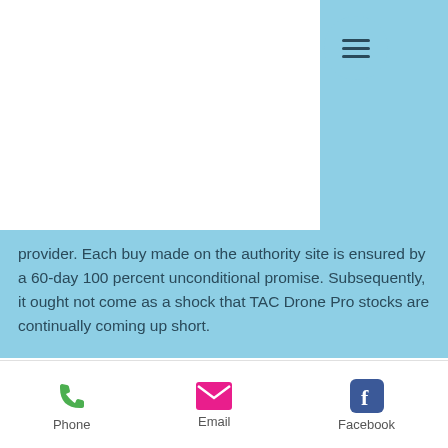[Figure (screenshot): Hamburger menu circle button on light blue background panel, top right area of mobile website]
provider. Each buy made on the authority site is ensured by a 60-day 100 percent unconditional promise. Subsequently, it ought not come as a shock that TAC Drone Pro stocks are continually coming up short.
[Figure (photo): Blurred close-up photo of dark mechanical or military equipment]
Phone   Email   Facebook